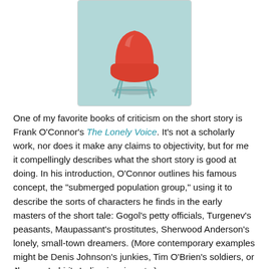[Figure (photo): A red plastic chair with metal legs on a light teal/mint green background]
One of my favorite books of criticism on the short story is Frank O’Connor’s The Lonely Voice. It’s not a scholarly work, nor does it make any claims to objectivity, but for me it compellingly describes what the short story is good at doing. In his introduction, O’Connor outlines his famous concept, the “submerged population group,” using it to describe the sorts of characters he finds in the early masters of the short tale: Gogol’s petty officials, Turgenev’s peasants, Maupassant’s prostitutes, Sherwood Anderson’s lonely, small-town dreamers. (More contemporary examples might be Denis Johnson’s junkies, Tim O’Brien’s soldiers, or Jhumpa Lahiri’s Indian immigrants.)
The novel, that most middle-class of art forms, has long been obsessed with social climbers and world-beaters, their triumphs, their downfalls, their second and third acts. O’Connor says that the short story concerns itself with a